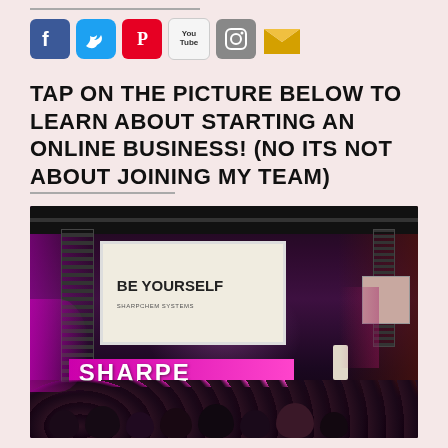[Figure (infographic): Row of social media icons: Facebook (blue), Twitter (blue bird), Pinterest (red), YouTube (white/grey), Instagram (grey camera), Email (gold envelope)]
TAP ON THE PICTURE BELOW TO LEARN ABOUT STARTING AN ONLINE BUSINESS! (NO ITS NOT ABOUT JOINING MY TEAM)
[Figure (photo): Indoor event/conference hall with large projection screen showing 'BE YOURSELF', pink/purple stage lighting, SHARPE banner at bottom, audience seated in foreground, speaker on stage right]